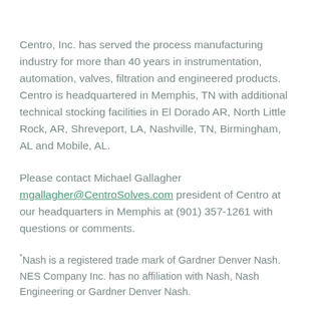Centro, Inc. has served the process manufacturing industry for more than 40 years in instrumentation, automation, valves, filtration and engineered products.  Centro is headquartered in Memphis, TN with additional technical stocking facilities in El Dorado AR, North Little Rock, AR, Shreveport, LA, Nashville, TN, Birmingham, AL and Mobile, AL.
Please contact Michael Gallagher mgallagher@CentroSolves.com president of Centro at our headquarters in Memphis at (901) 357-1261 with questions or comments.
*Nash is a registered trade mark of Gardner Denver Nash. NES Company Inc. has no affiliation with Nash, Nash Engineering or Gardner Denver Nash.